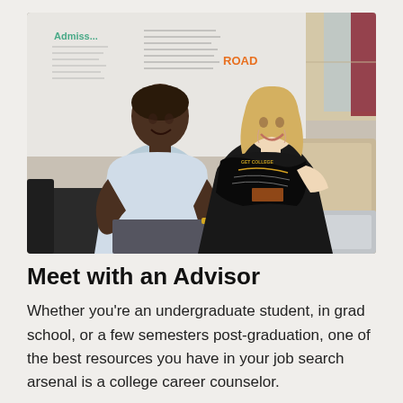[Figure (photo): Two people sitting on dark sofas in an office/advising room: a man in a light blue shirt on the left and a woman in a black dress on the right, smiling and looking at a black book/brochure she is holding. Background shows a whiteboard with writing and a window with natural light.]
Meet with an Advisor
Whether you’re an undergraduate student, in grad school, or a few semesters post-graduation, one of the best resources you have in your job search arsenal is a college career counselor.